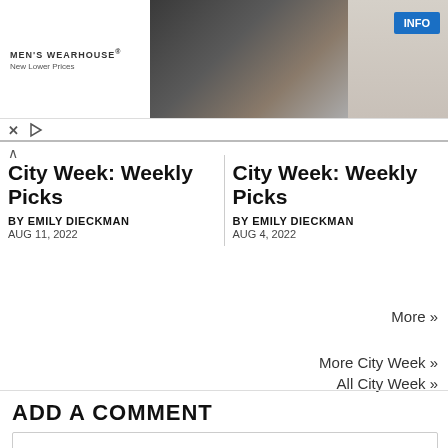[Figure (screenshot): Men's Wearhouse advertisement banner with logo on left, couple in formal wear in center, man in suit on right, INFO button]
City Week: Weekly Picks
BY EMILY DIECKMAN
AUG 11, 2022
City Week: Weekly Picks
BY EMILY DIECKMAN
AUG 4, 2022
More »
More City Week »
All City Week »
ADD A COMMENT